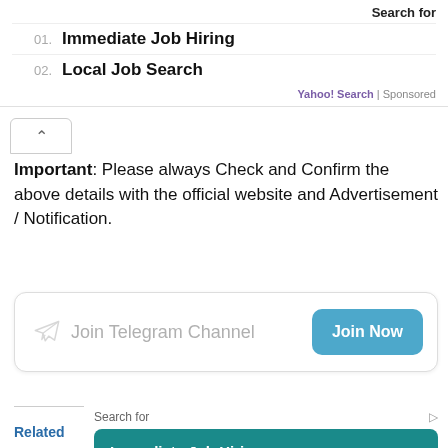Search for
01. Immediate Job Hiring
02. Local Job Search
Yahoo! Search | Sponsored
Important: Please always Check and Confirm the above details with the official website and Advertisement / Notification.
[Figure (other): Join Telegram Channel button with Join Now CTA]
Related
Search for
Immediate Job Hiring →
Local Job Search →
Yahoo! Search | Sponsored